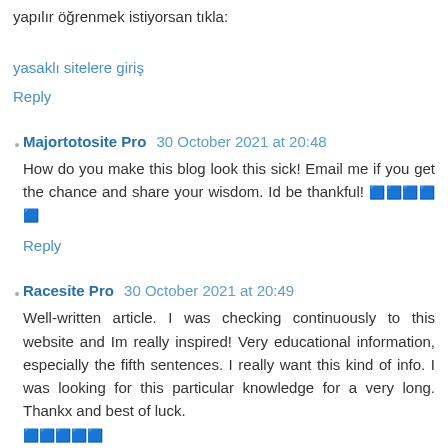yapılır öğrenmek istiyorsan tıkla:
yasaklı sitelere giriş
Reply
Majortotosite Pro  30 October 2021 at 20:48
How do you make this blog look this sick! Email me if you get the chance and share your wisdom. Id be thankful! 🟦🟦🟦🟦🟦
Reply
Racesite Pro  30 October 2021 at 20:49
Well-written article. I was checking continuously to this website and Im really inspired! Very educational information, especially the fifth sentences. I really want this kind of info. I was looking for this particular knowledge for a very long. Thankx and best of luck. 🟦🟦🟦🟦🟦 🟦🟦🟦🟦🟦